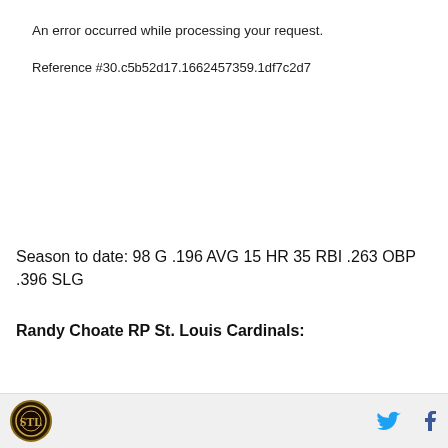An error occurred while processing your request.
Reference #30.c5b52d17.1662457359.1df7c2d7
Season to date: 98 G .196 AVG 15 HR 35 RBI .263 OBP .396 SLG
Randy Choate RP St. Louis Cardinals:
[Figure (photo): Partial image strip of a baseball player photo]
Cardinals logo, Twitter icon, Facebook icon